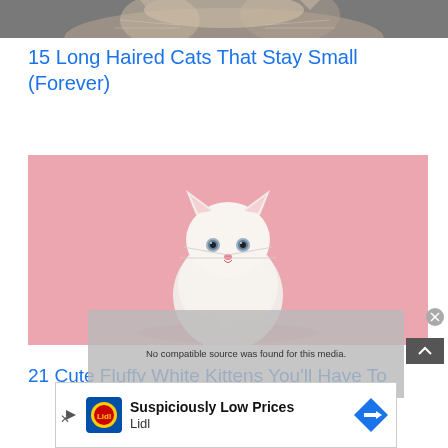[Figure (photo): Top portion of a fluffy long-haired cat, partially cropped at top of page]
15 Long Haired Cats That Stay Small (Forever)
[Figure (photo): White fluffy kitten sitting on a pink background with a pink ball of yarn]
[Figure (other): Video player overlay showing 'No compatible source was found for this media.' with a close button]
21 Cute Fluffy White Kittens You'll Have To
[Figure (other): Advertisement bar: Lidl 'Suspiciously Low Prices' ad with Lidl logo and navigation arrow]